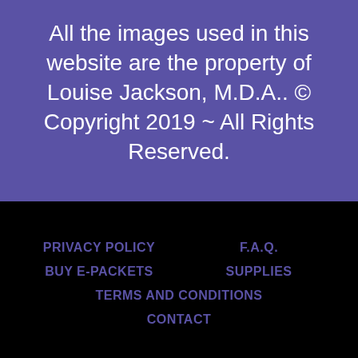All the images used in this website are the property of Louise Jackson, M.D.A.. © Copyright 2019 ~ All Rights Reserved.
PRIVACY POLICY
F.A.Q.
BUY E-PACKETS
SUPPLIES
TERMS AND CONDITIONS
CONTACT